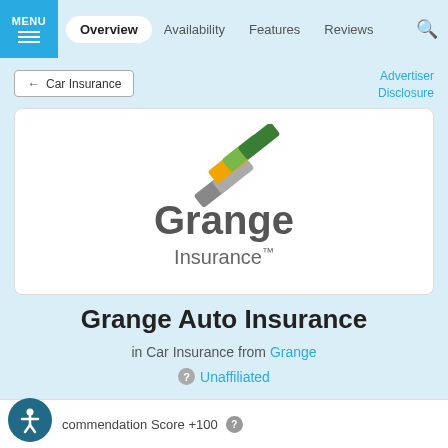MENU | Overview | Availability | Features | Reviews
← Car Insurance
Advertiser Disclosure
[Figure (logo): Grange Insurance logo with diagonal colored stripes in green, gray, and orange above the text 'Grange Insurance']
Grange Auto Insurance
in Car Insurance from Grange
Unaffiliated
commendation Score +100